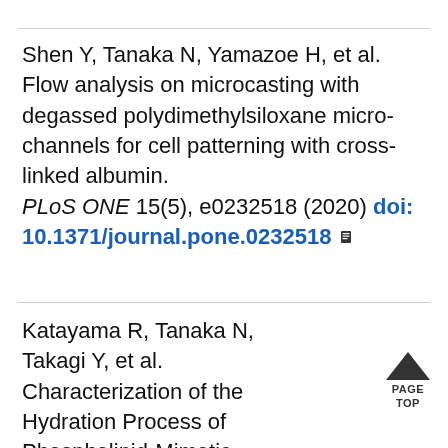Shen Y, Tanaka N, Yamazoe H, et al. Flow analysis on microcasting with degassed polydimethylsiloxane micro-channels for cell patterning with cross-linked albumin. PLoS ONE 15(5), e0232518 (2020) doi: 10.1371/journal.pone.0232518
Katayama R, Tanaka N, Takagi Y, et al. Characterization of the Hydration Process of Phospholipid-Mimetic Polymers Using